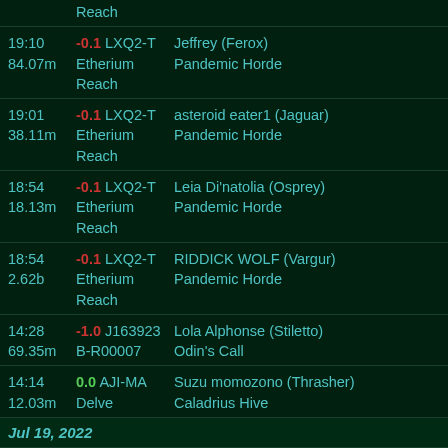Reach
19:10 | 84.07m | -0.1 LXQ2-T | Etherium Reach | Jeffrey (Ferox) | Pandemic Horde
19:01 | 38.11m | -0.1 LXQ2-T | Etherium Reach | asteroid eater1 (Jaguar) | Pandemic Horde
18:54 | 18.13m | -0.1 LXQ2-T | Etherium Reach | Leia Di'natolia (Osprey) | Pandemic Horde
18:54 | 2.62b | -0.1 LXQ2-T | Etherium Reach | RIDDICK WOLF (Vargur) | Pandemic Horde
14:28 | 69.35m | -1.0 J163923 | B-R00007 | Lola Alphonse (Stiletto) | Odin's Call
14:14 | 12.03m | 0.0 AJI-MA | Delve | Suzu momozono (Thrasher) | Caladrius Hive
Jul 19, 2022
20:33 | -1.0 Y-3ANO | Osman CIETCI (Capsule)